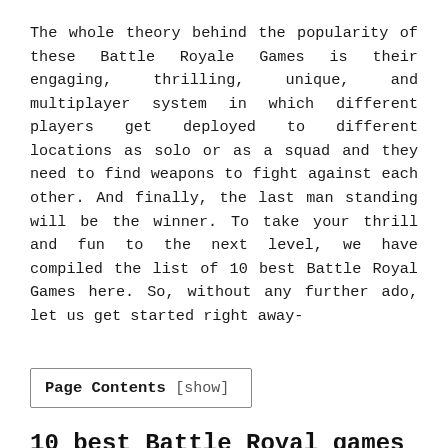The whole theory behind the popularity of these Battle Royale Games is their engaging, thrilling, unique, and multiplayer system in which different players get deployed to different locations as solo or as a squad and they need to find weapons to fight against each other. And finally, the last man standing will be the winner. To take your thrill and fun to the next level, we have compiled the list of 10 best Battle Royal Games here. So, without any further ado, let us get started right away-
Page Contents [show]
10 best Battle Royal games